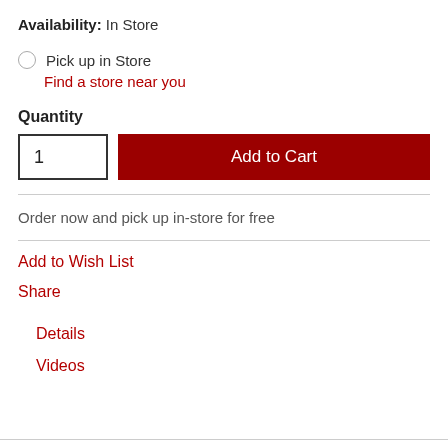Availability: In Store
Pick up in Store
Find a store near you
Quantity
1
Add to Cart
Order now and pick up in-store for free
Add to Wish List
Share
Details
Videos